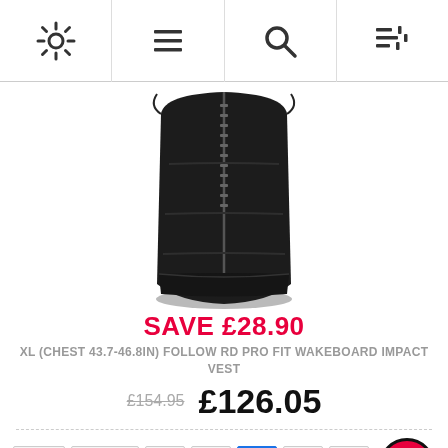[Settings icon] [Menu icon] [Search icon] [Filter icon]
[Figure (photo): Black wakeboard impact vest shown from the front/bottom, zipped up, on white background]
SAVE £28.90
XL (CHEST 43.7-46.8IN) FOLLOW RD PRO FIT WAKEBOARD IMPACT VEST
£154.95  £126.05
First  Previous  2  3  4  5  6  Last